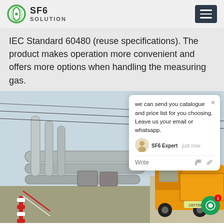SF6 SOLUTION
IEC Standard 60480 (reuse specifications). The product makes operation more convenient and offers more options when handling the measuring gas.
[Figure (photo): Electrical substation with large grey SF6 gas-insulated switchgear pipes and equipment. An orange utility truck is parked to the right. Red and white safety barriers are visible. Power lines and towers in the background. A chat popup overlay is visible in the upper right corner.]